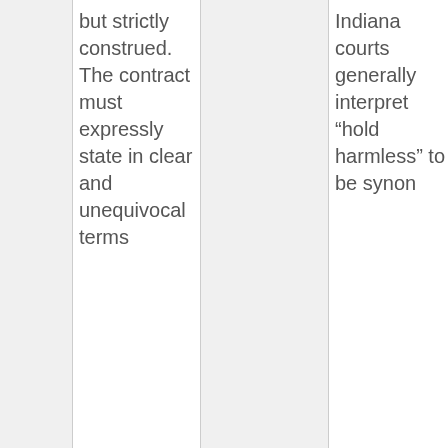|  | but strictly construed. The contract must expressly state in clear and unequivocal terms |  | Indiana courts generally interpret “hold harmless” to be synon | claims are generally not presumed to be included unless the relationship of the parties |